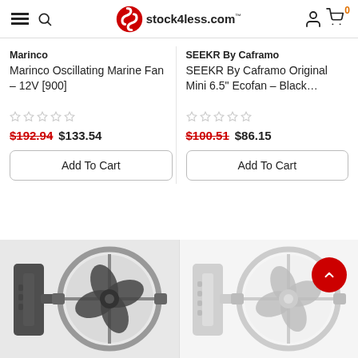stock4less.com
Marinco
Marinco Oscillating Marine Fan – 12V [900]
$192.94  $133.54
SEEKR By Caframo
SEEKR By Caframo Original Mini 6.5" Ecofan – Black…
$100.51  $86.15
[Figure (photo): Marinco oscillating marine fan, dark/metallic color, wall-mounted circular fan with guard]
[Figure (photo): SEEKR by Caframo Mini Ecofan, white/light color, wall-mounted circular fan with guard]